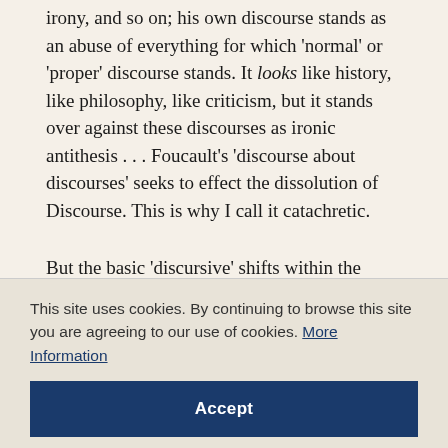irony, and so on; his own discourse stands as an abuse of everything for which 'normal' or 'proper' discourse stands. It looks like history, like philosophy, like criticism, but it stands over against these discourses as ironic antithesis ... Foucault's 'discourse about discourses' seeks to effect the dissolution of Discourse. This is why I call it catachretic.
But the basic 'discursive' shifts within the discourse of history itself will, of course, involve figures other than this: metaphor, metonymy,
This site uses cookies. By continuing to browse this site you are agreeing to our use of cookies. More Information
Accept